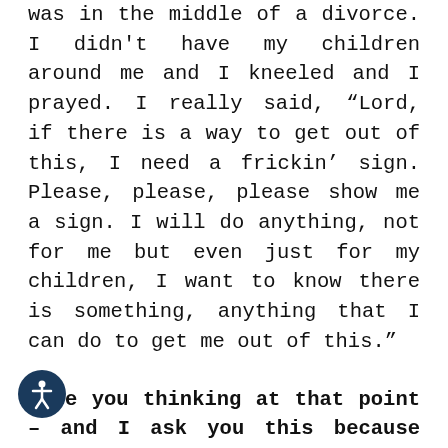was in the middle of a divorce. I didn't have my children around me and I kneeled and I prayed. I really said, “Lord, if there is a way to get out of this, I need a frickin’ sign. Please, please, please show me a sign. I will do anything, not for me but even just for my children, I want to know there is something, anything that I can do to get me out of this.”
Were you thinking at that point – and I ask you this because I’ve been there – re you thinking about possibly taking your life at that point?